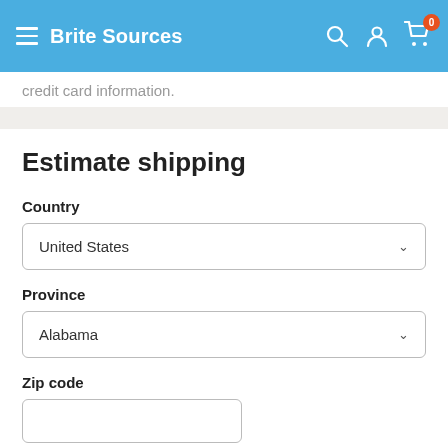Brite Sources
credit card information.
Estimate shipping
Country
United States
Province
Alabama
Zip code